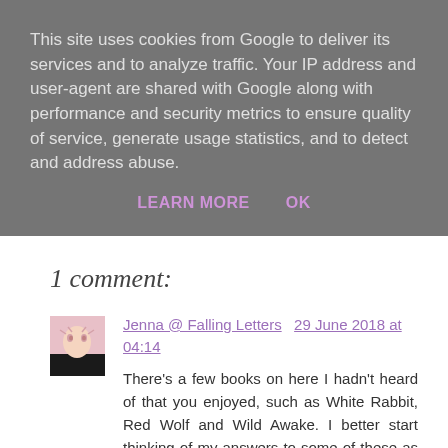This site uses cookies from Google to deliver its services and to analyze traffic. Your IP address and user-agent are shared with Google along with performance and security metrics to ensure quality of service, generate usage statistics, and to detect and address abuse.
LEARN MORE   OK
1 comment:
Jenna @ Falling Letters  29 June 2018 at 04:14
There's a few books on here I hadn't heard of that you enjoyed, such as White Rabbit, Red Wolf and Wild Awake. I better start thinking of my answers to some of these as I plan to post this tag on July 3 :P
Reply
To leave a comment, click the button below to sign